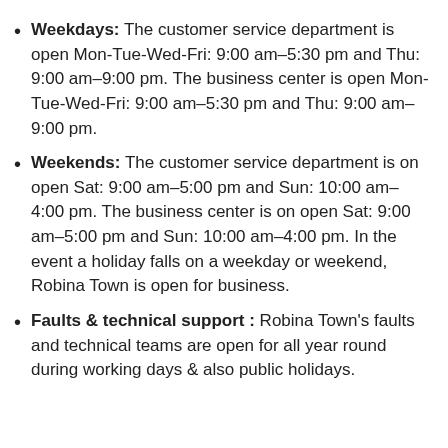Weekdays: The customer service department is open Mon-Tue-Wed-Fri: 9:00 am–5:30 pm and Thu: 9:00 am–9:00 pm. The business center is open Mon-Tue-Wed-Fri: 9:00 am–5:30 pm and Thu: 9:00 am–9:00 pm.
Weekends: The customer service department is on open Sat: 9:00 am–5:00 pm and Sun: 10:00 am–4:00 pm. The business center is on open Sat: 9:00 am–5:00 pm and Sun: 10:00 am–4:00 pm. In the event a holiday falls on a weekday or weekend, Robina Town is open for business.
Faults & technical support : Robina Town's faults and technical teams are open for all year round during working days & also public holidays.